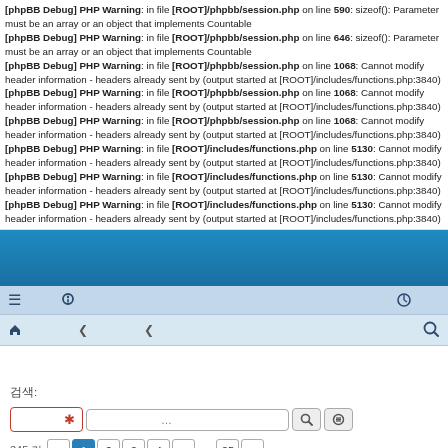[phpBB Debug] PHP Warning: in file [ROOT]/phpbb/session.php on line 590: sizeof(): Parameter must be an array or an object that implements Countable
[phpBB Debug] PHP Warning: in file [ROOT]/phpbb/session.php on line 646: sizeof(): Parameter must be an array or an object that implements Countable
[phpBB Debug] PHP Warning: in file [ROOT]/phpbb/session.php on line 1068: Cannot modify header information - headers already sent by (output started at [ROOT]/includes/functions.php:3840)
[phpBB Debug] PHP Warning: in file [ROOT]/phpbb/session.php on line 1068: Cannot modify header information - headers already sent by (output started at [ROOT]/includes/functions.php:3840)
[phpBB Debug] PHP Warning: in file [ROOT]/phpbb/session.php on line 1068: Cannot modify header information - headers already sent by (output started at [ROOT]/includes/functions.php:3840)
[phpBB Debug] PHP Warning: in file [ROOT]/includes/functions.php on line 5130: Cannot modify header information - headers already sent by (output started at [ROOT]/includes/functions.php:3840)
[phpBB Debug] PHP Warning: in file [ROOT]/includes/functions.php on line 5130: Cannot modify header information - headers already sent by (output started at [ROOT]/includes/functions.php:3840)
[phpBB Debug] PHP Warning: in file [ROOT]/includes/functions.php on line 5130: Cannot modify header information - headers already sent by (output started at [ROOT]/includes/functions.php:3840)
Board title (Korean characters)
검색 (Korean characters)
검색 결과
345 건 (pagination controls)